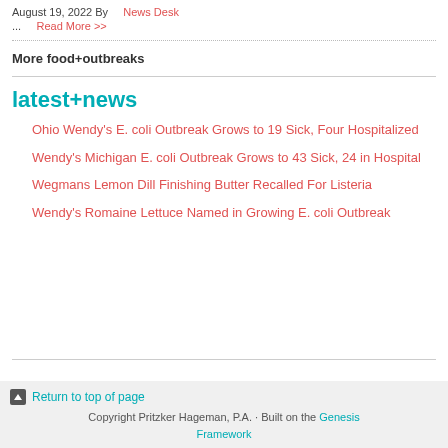August 19, 2022 By   News Desk
...   Read More >>
More food+outbreaks
latest+news
Ohio Wendy's E. coli Outbreak Grows to 19 Sick, Four Hospitalized
Wendy's Michigan E. coli Outbreak Grows to 43 Sick, 24 in Hospital
Wegmans Lemon Dill Finishing Butter Recalled For Listeria
Wendy's Romaine Lettuce Named in Growing E. coli Outbreak
Return to top of page
Copyright Pritzker Hageman, P.A. · Built on the Genesis Framework